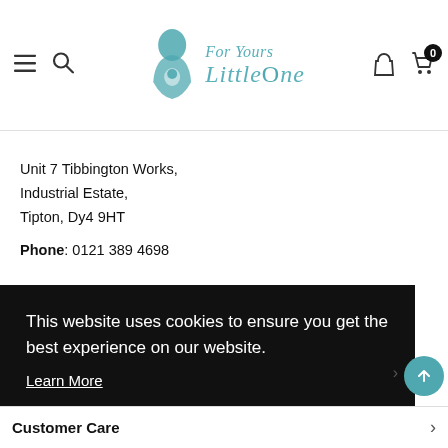[Figure (logo): For Yours Little One website header with hamburger menu, search icon, logo (mother and child silhouette with teal text), user icon, and cart icon with badge showing 0]
Unit 7 Tibbington Works,
Industrial Estate,
Tipton, Dy4 9HT
Phone: 0121 389 4698
This website uses cookies to ensure you get the best experience on our website.
Learn More
Got it!
Customer Care